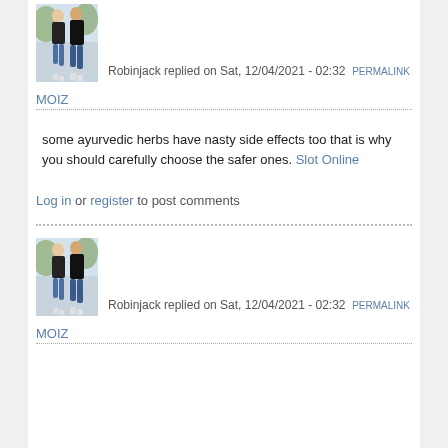[Figure (photo): Avatar photo of two people (couple) walking in black hoodies and jeans, top of page]
Robinjack replied on Sat, 12/04/2021 - 02:32 PERMALINK
MOIZ
some ayurvedic herbs have nasty side effects too that is why you should carefully choose the safer ones. Slot Online
Log in or register to post comments
[Figure (photo): Avatar photo of two people (couple) walking in black hoodies and jeans, bottom section]
Robinjack replied on Sat, 12/04/2021 - 02:32 PERMALINK
MOIZ